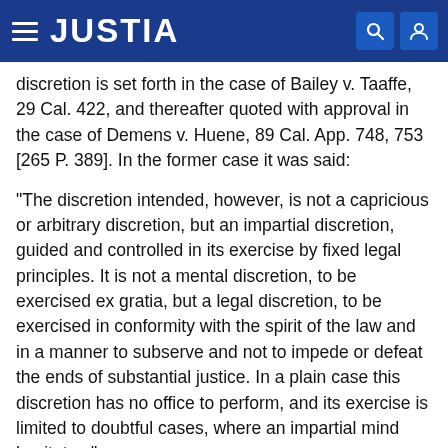JUSTIA
discretion is set forth in the case of Bailey v. Taaffe, 29 Cal. 422, and thereafter quoted with approval in the case of Demens v. Huene, 89 Cal. App. 748, 753 [265 P. 389]. In the former case it was said:
"The discretion intended, however, is not a capricious or arbitrary discretion, but an impartial discretion, guided and controlled in its exercise by fixed legal principles. It is not a mental discretion, to be exercised ex gratia, but a legal discretion, to be exercised in conformity with the spirit of the law and in a manner to subserve and not to impede or defeat the ends of substantial justice. In a plain case this discretion has no office to perform, and its exercise is limited to doubtful cases, where an impartial mind hesitates."
According to the record herein, appellant made a showing to the trial court that in all respects complied